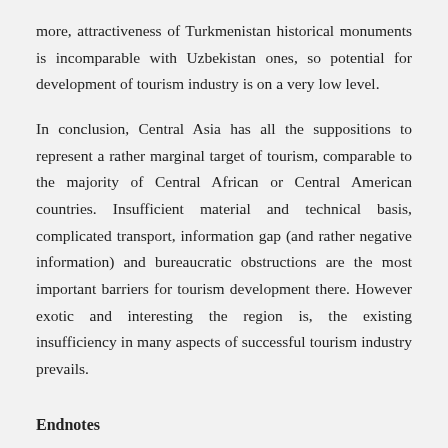more, attractiveness of Turkmenistan historical monuments is incomparable with Uzbekistan ones, so potential for development of tourism industry is on a very low level.
In conclusion, Central Asia has all the suppositions to represent a rather marginal target of tourism, comparable to the majority of Central African or Central American countries. Insufficient material and technical basis, complicated transport, information gap (and rather negative information) and bureaucratic obstructions are the most important barriers for tourism development there. However exotic and interesting the region is, the existing insufficiency in many aspects of successful tourism industry prevails.
Endnotes